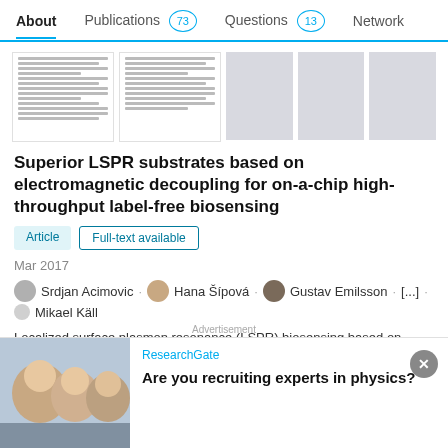About  Publications 73  Questions 13  Network
[Figure (screenshot): Thumbnail previews of document pages — two paper thumbnails with text lines visible, followed by three grey placeholder rectangles]
Superior LSPR substrates based on electromagnetic decoupling for on-a-chip high-throughput label-free biosensing
Article  Full-text available
Mar 2017
Srdjan Acimovic · Hana Šípová · Gustav Emilsson · [...] · Mikael Käll
Localized surface plasmon resonance (LSPR) biosensing based on supported metal nanoparticles offersunparalleled possibilities for high-end miniaturization, multiplexing and high-throughput label-free molecular interaction analysis in real time when
Advertisement
ResearchGate
Are you recruiting experts in physics?